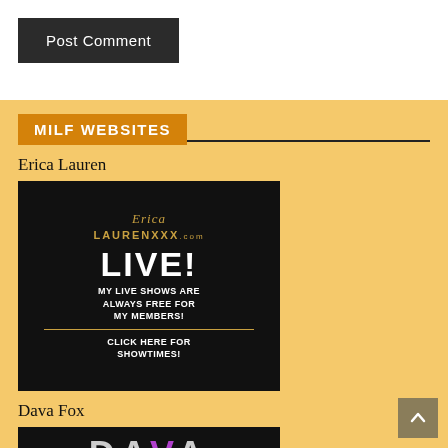Post Comment
MILF WEBSITES
Erica Lauren
[Figure (photo): Advertisement banner for EricaLaurenXXX.com featuring a blonde woman in a gold dress with text: LIVE! MY LIVE SHOWS ARE ALWAYS FREE FOR MY MEMBERS! CLICK HERE FOR SHOWTIMES!]
Dava Fox
[Figure (logo): Dava Fox logo showing DAVA text in large letters with purple V]